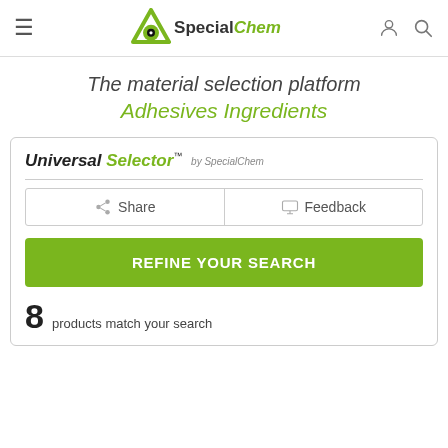SpecialChem — The material selection platform
The material selection platform
Adhesives Ingredients
[Figure (screenshot): Universal Selector by SpecialChem widget with Share, Feedback buttons, Refine Your Search button, and '8 products match your search' text]